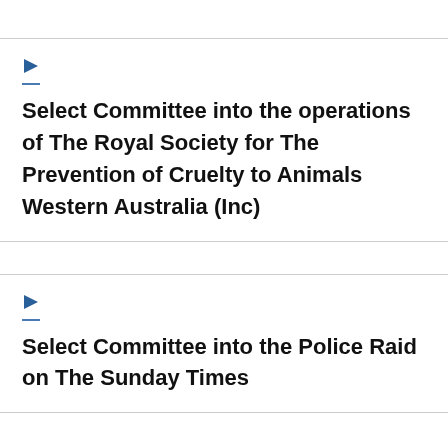Select Committee into the operations of The Royal Society for The Prevention of Cruelty to Animals Western Australia (Inc)
Select Committee into the Police Raid on The Sunday Times